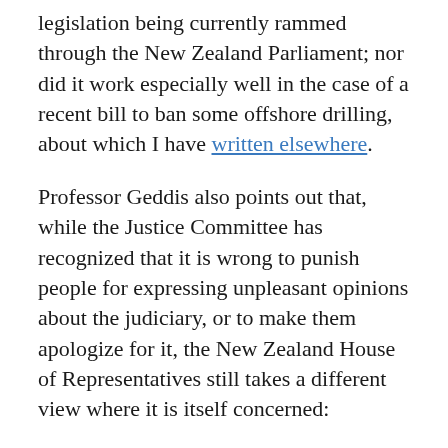legislation being currently rammed through the New Zealand Parliament; nor did it work especially well in the case of a recent bill to ban some offshore drilling, about which I have written elsewhere.
Professor Geddis also points out that, while the Justice Committee has recognized that it is wrong to punish people for expressing unpleasant opinions about the judiciary, or to make them apologize for it, the New Zealand House of Representatives still takes a different view where it is itself concerned:
Basically, saying rude things about an MP (even true rude things about an MP)